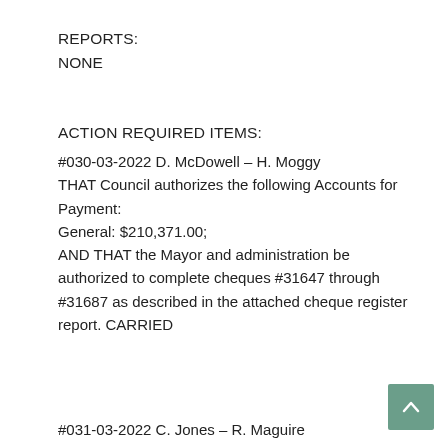REPORTS:
NONE
ACTION REQUIRED ITEMS:
#030-03-2022 D. McDowell – H. Moggy THAT Council authorizes the following Accounts for Payment: General: $210,371.00; AND THAT the Mayor and administration be authorized to complete cheques #31647 through #31687 as described in the attached cheque register report. CARRIED
#031-03-2022 C. Jones – R. Maguire